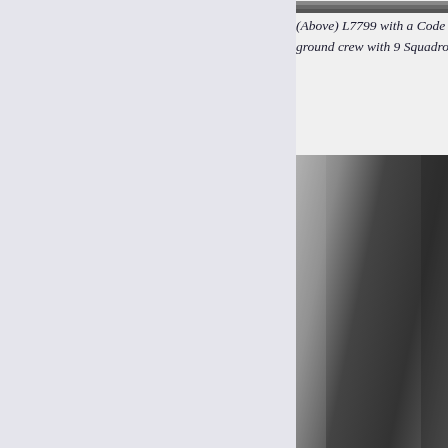[Figure (photo): Partial top of historical black and white photograph, cropped at top of page]
(Above) L7799 with a Code of WS:Y prior to it b[eing...] ground crew with 9 Squadron for a p[hoto...]
[Figure (photo): Black and white historical photograph on right side of page, vertically oriented, showing partial view]
Above: Sg[...]
[Figure (photo): Small yellowish/cream-toned photograph partially visible at bottom right]